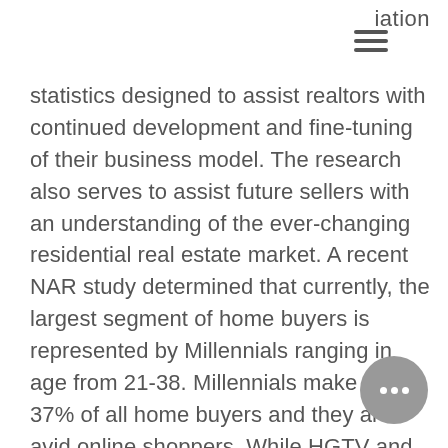iation
statistics designed to assist realtors with continued development and fine-tuning of their business model. The research also serves to assist future sellers with an understanding of the ever-changing residential real estate market. A recent NAR study determined that currently, the largest segment of home buyers is represented by Millennials ranging in age from 21-38. Millennials make up 37% of all home buyers and they are avid online shoppers. While HGTV and YouTube have provided Millennials with countless tutorials on DIY projects, this demographic prefe… move-in ready homes over fixer